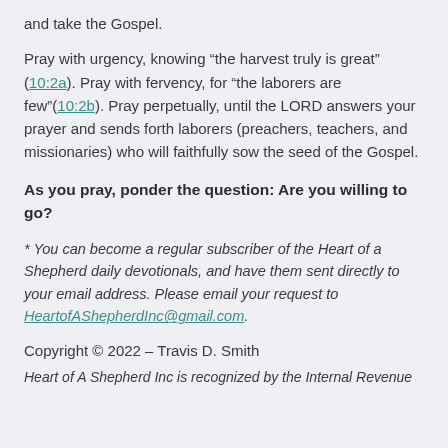and take the Gospel.
Pray with urgency, knowing “the harvest truly is great” (10:2a). Pray with fervency, for “the laborers are few”(10:2b). Pray perpetually, until the LORD answers your prayer and sends forth laborers (preachers, teachers, and missionaries) who will faithfully sow the seed of the Gospel.
As you pray, ponder the question: Are you willing to go?
* You can become a regular subscriber of the Heart of a Shepherd daily devotionals, and have them sent directly to your email address. Please email your request to HeartofAShepherdInc@gmail.com.
Copyright © 2022 – Travis D. Smith
Heart of A Shepherd Inc is recognized by the Internal Revenue